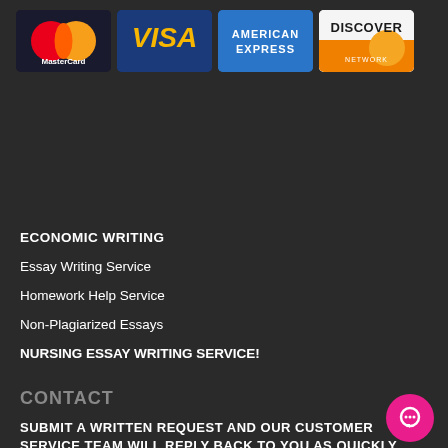[Figure (logo): Payment method logos: MasterCard, VISA, American Express, Discover Network]
ECONOMIC WRITING
Essay Writing Service
Homework Help Service
Non-Plagiarized Essays
NURSING ESSAY WRITING SERVICE!
CONTACT
SUBMIT A WRITTEN REQUEST AND OUR CUSTOMER SERVICE TEAM WILL REPLY BACK TO YOU AS QUICKLY